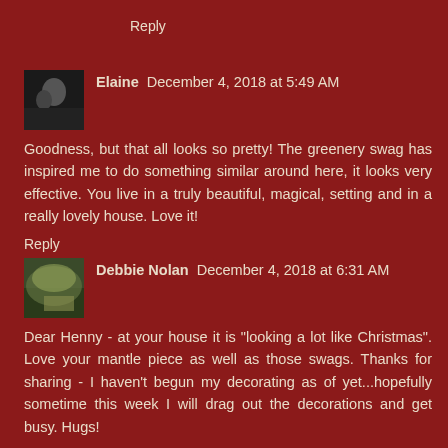Reply
Elaine  December 4, 2018 at 5:49 AM
Goodness, but that all looks so pretty! The greenery swag has inspired me to do something similar around here, it looks very effective. You live in a truly beautiful, magical, setting and in a really lovely house. Love it!
Reply
Debbie Nolan  December 4, 2018 at 6:31 AM
Dear Henny - at your house it is "looking a lot like Christmas". Love your mantle piece as well as those swags. Thanks for sharing - I haven't begun my decorating as of yet...hopefully sometime this week I will drag out the decorations and get busy. Hugs!
Reply